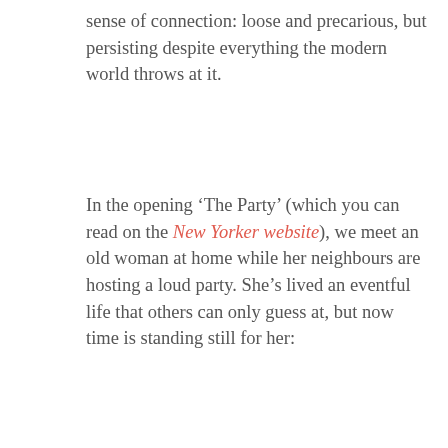sense of connection: loose and precarious, but persisting despite everything the modern world throws at it.
In the opening ‘The Party’ (which you can read on the New Yorker website), we meet an old woman at home while her neighbours are hosting a loud party. She’s lived an eventful life that others can only guess at, but now time is standing still for her:
…here I am, the leftover part, the unresolved plot, the loose end, the woman in the house, the house in the woman, the cat, the unkempt garden, the clothes in the wardrobe that she cannot throw out and cannot wear, the